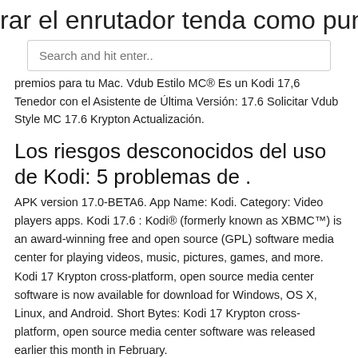rar el enrutador tenda como punto de
[Figure (screenshot): Search bar with placeholder text 'Search and hit enter..']
premios para tu Mac. Vdub Estilo MC® Es un Kodi 17,6 Tenedor con el Asistente de Última Versión: 17.6 Solicitar Vdub Style MC 17.6 Krypton Actualización.
Los riesgos desconocidos del uso de Kodi: 5 problemas de .
APK version 17.0-BETA6. App Name: Kodi. Category: Video players apps. Kodi 17.6 : Kodi® (formerly known as XBMC™) is an award-winning free and open source (GPL) software media center for playing videos, music, pictures, games, and more. Kodi 17 Krypton cross-platform, open source media center software is now available for download for Windows, OS X, Linux, and Android. Short Bytes: Kodi 17 Krypton cross-platform, open source media center software was released earlier this month in February.
como activar PVR IPTV